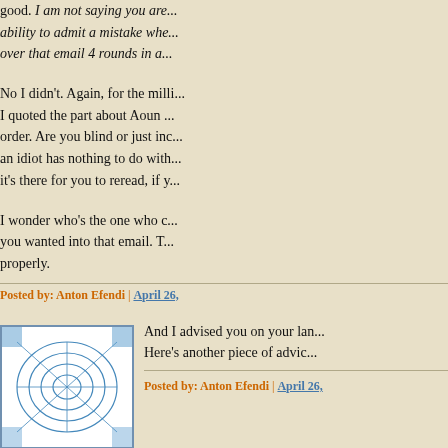good. I am not saying you are... ability to admit a mistake whe... over that email 4 rounds in a...
No I didn't. Again, for the milli... I quoted the part about Aoun ... order. Are you blind or just inc... an idiot has nothing to do with... it's there for you to reread, if y...
I wonder who's the one who c... you wanted into that email. T... properly.
Posted by: Anton Efendi | April 26,
[Figure (illustration): Small square avatar image with blue geometric/leaf pattern on white background]
And I advised you on your lan... Here's another piece of advic...
Posted by: Anton Efendi | April 26,
[Figure (illustration): Small square avatar image with blue geometric/leaf pattern on white background]
I'm not asking for your apolog... outside the regime for the reg...